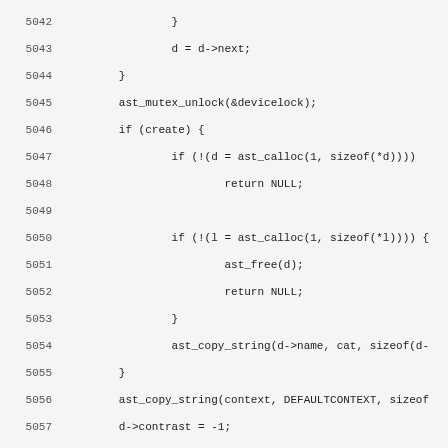[Figure (screenshot): Source code listing showing C code lines 5042-5074, including mutex unlock, calloc calls, ast_copy_string calls, and variable assignments for device configuration such as contrast, output, volume, mute, linelabel, dateformat, timeformat, ringvolume, callhistory, ringstyle, nbsoftkey, and a while loop with strcasecmp conditionals.]